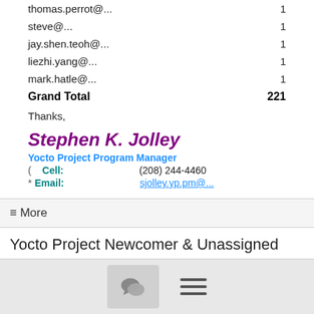| Email | Count |
| --- | --- |
| thomas.perrot@... | 1 |
| steve@... | 1 |
| jay.shen.teoh@... | 1 |
| liezhi.yang@... | 1 |
| mark.hatle@... | 1 |
| Grand Total | 221 |
Thanks,
Stephen K. Jolley
Yocto Project Program Manager
( Cell: (208) 244-4460
* Email: sjolley.yp.pm@...
≡ More
Yocto Project Newcomer & Unassigned Bugs - Help Needed